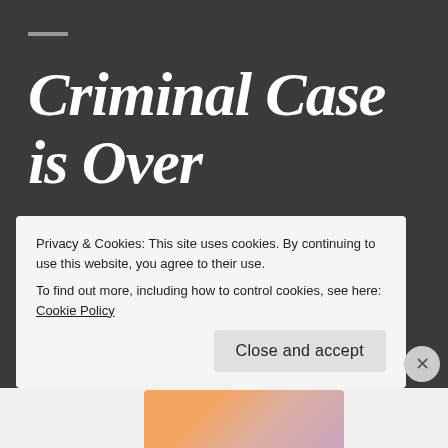Criminal Case is Over
Anxiety, depression, Loss of a Parent
It's been over a year since my dad was killed, but the criminal case is finally over
Privacy & Cookies: This site uses cookies. By continuing to use this website, you agree to their use.
To find out more, including how to control cookies, see here: Cookie Policy
Close and accept